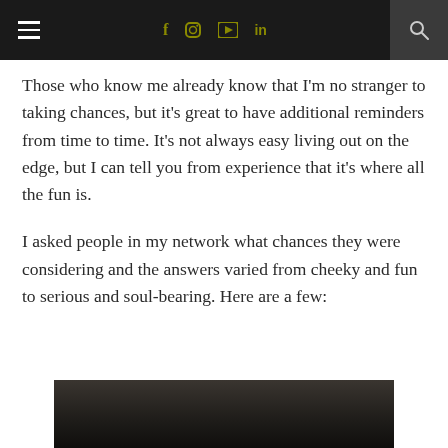Navigation bar with hamburger menu, social icons (f, Instagram, YouTube, in), and search icon
Those who know me already know that I'm no stranger to taking chances, but it's great to have additional reminders from time to time. It's not always easy living out on the edge, but I can tell you from experience that it's where all the fun is.
I asked people in my network what chances they were considering and the answers varied from cheeky and fun to serious and soul-bearing. Here are a few:
[Figure (photo): Dark/dimly lit photograph, partially visible at bottom of page]